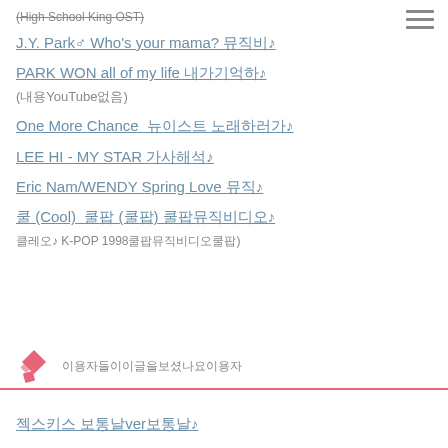(High School King OST)
J.Y. Park♂ Who's your mama? 뮤직비♪
PARK WON all of my life 내가기억하♪
(내용YouTube없음)
One More Chance  뉴이스트 노래하러가♪
LEE HI - MY STAR 가사해석♪
Eric Nam/WENDY Spring Love 뮤직♪
쿨 (Cool)  쿨팝 (쿨팝) 쿨팝뮤직비디오♪
클레오♪ K-POP 1998쿨팝뮤직비디오쿨팝)
[Figure (logo): Pink diamond/rhombus logo icon with two shapes]
이용자들이이글을보셨나요이용자
젝스키스 보통날ver보통날♪